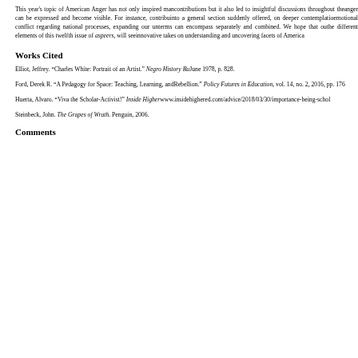This year's topic of American Anger has not only inspired many contributions but it also led to insightful discussions throughout the anger can be expressed and become visible. For instance, contributors into a general section suddenly offered, on deeper contemplation emotional conflict regarding national processes, expanding our understanding terms can encompass separately and combined. We hope that our the different elements of this twelfth issue of aspeers, will see innovative takes on understanding and uncovering facets of America
Works Cited
Elliot, Jeffrey. “Charles White: Portrait of an Artist.” Negro History Bu June 1978, p. 828.
Ford, Derek R. “A Pedagogy for Space: Teaching, Learning, and Rebellion.” Policy Futures in Education, vol. 14, no. 2, 2016, pp. 176
Huerta, Alvaro. “Viva the Scholar-Activist!” Inside Higher www.insidehighered.com/advice/2018/03/30/importance-being-schol
Steinbeck, John. The Grapes of Wrath. Penguin, 2006.
Comments